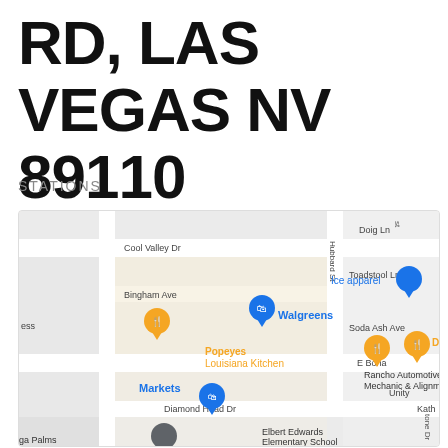RD, LAS VEGAS NV 89110
STATIONS
[Figure (map): Google Maps screenshot showing area around a road in Las Vegas NV 89110. Visible streets include Cool Valley Dr, Bingham Ave, Hubbard St, Toadstool Ln, Soda Ash Ave, E Bonanza, Diamond Head Dr. Businesses visible include Ice apparel, Walgreens, Popeyes Louisiana Kitchen, Domino's Pizza, Rancho Automotive C Mechanic & Alignment, Markets, Elbert Edwards Elementary School. Map pins in blue and orange colors mark various locations.]